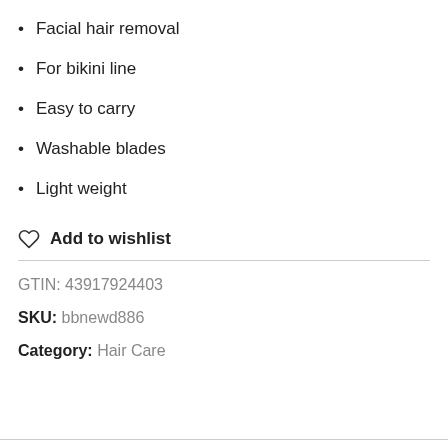Facial hair removal
For bikini line
Easy to carry
Washable blades
Light weight
♡ Add to wishlist
GTIN: 43917924403
SKU: bbnewd886
Category: Hair Care